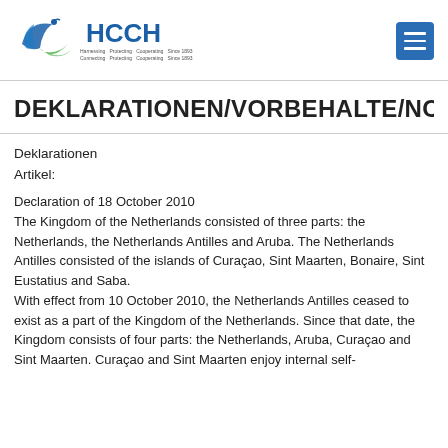HCCH
DEKLARATIONEN/VORBEHALTE/NOTIFIKATIO
Deklarationen
Artikel:
Declaration of 18 October 2010
The Kingdom of the Netherlands consisted of three parts: the Netherlands, the Netherlands Antilles and Aruba. The Netherlands Antilles consisted of the islands of Curaçao, Sint Maarten, Bonaire, Sint Eustatius and Saba.
With effect from 10 October 2010, the Netherlands Antilles ceased to exist as a part of the Kingdom of the Netherlands. Since that date, the Kingdom consists of four parts: the Netherlands, Aruba, Curaçao and Sint Maarten. Curaçao and Sint Maarten enjoy internal self-